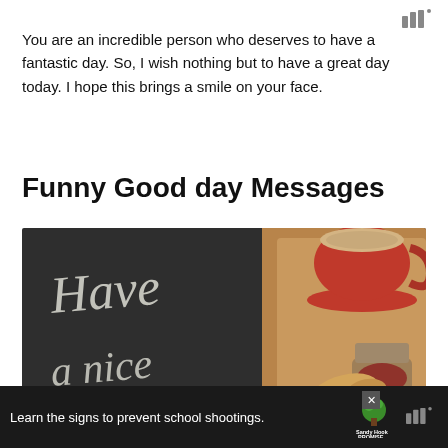www
You are an incredible person who deserves to have a fantastic day. So, I wish nothing but to have a great day today. I hope this brings a smile on your face.
Funny Good day Messages
[Figure (photo): Photo of a chalkboard with chalk handwriting 'Have a nice' text alongside a wooden tray holding a red coffee cup, croissant, and jam jar]
Learn the signs to prevent school shootings.